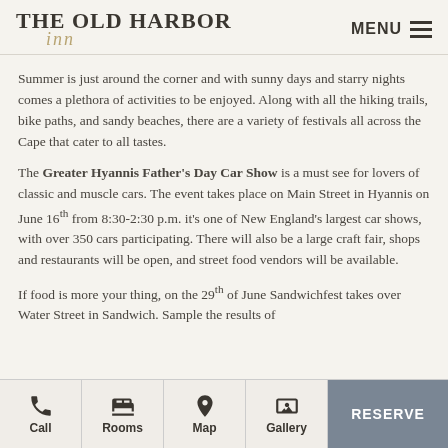THE OLD HARBOR inn | MENU
Summer is just around the corner and with sunny days and starry nights comes a plethora of activities to be enjoyed. Along with all the hiking trails, bike paths, and sandy beaches, there are a variety of festivals all across the Cape that cater to all tastes.
The Greater Hyannis Father’s Day Car Show is a must see for lovers of classic and muscle cars. The event takes place on Main Street in Hyannis on June 16th from 8:30-2:30 p.m. it’s one of New England’s largest car shows, with over 350 cars participating. There will also be a large craft fair, shops and restaurants will be open, and street food vendors will be available.
If food is more your thing, on the 29th of June Sandwichfest takes over Water Street in Sandwich. Sample the results of
Call | Rooms | Map | Gallery | RESERVE